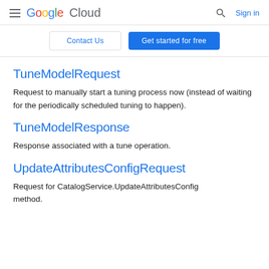Google Cloud  Sign in
Contact Us  Get started for free
TuneModelRequest
Request to manually start a tuning process now (instead of waiting for the periodically scheduled tuning to happen).
TuneModelResponse
Response associated with a tune operation.
UpdateAttributesConfigRequest
Request for CatalogService.UpdateAttributesConfig method.